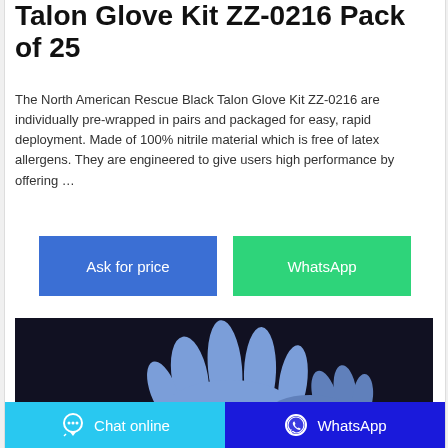Talon Glove Kit ZZ-0216 Pack of 25
The North American Rescue Black Talon Glove Kit ZZ-0216 are individually pre-wrapped in pairs and packaged for easy, rapid deployment. Made of 100% nitrile material which is free of latex allergens. They are engineered to give users high performance by offering …
[Figure (other): Two buttons side by side: blue 'Ask for price' button and green 'WhatsApp' button]
[Figure (photo): Dark background photo showing blue nitrile gloves on dark surface]
Chat online   WhatsApp